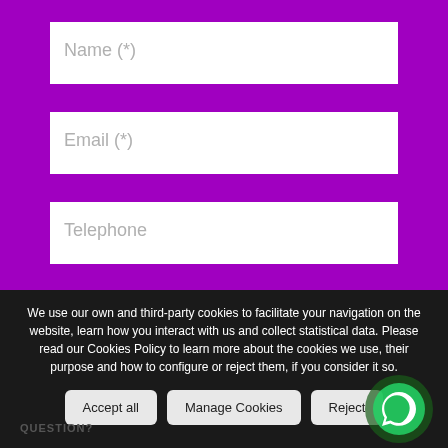Name (*)
Email (*)
Telephone
Description (*)
We use our own and third-party cookies to facilitate your navigation on the website, learn how you interact with us and collect statistical data. Please read our Cookies Policy to learn more about the cookies we use, their purpose and how to configure or reject them, if you consider it so.
Accept all
Manage Cookies
Reject
QUESTION?